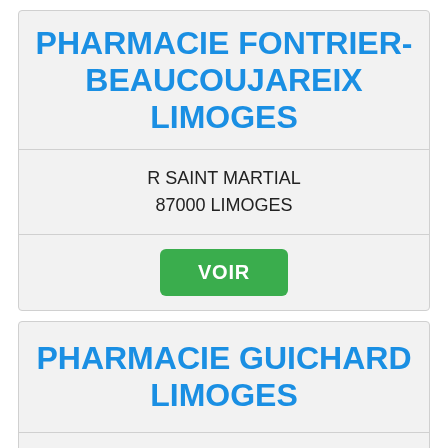PHARMACIE FONTRIER-BEAUCOUJAREIX LIMOGES
R SAINT MARTIAL
87000 LIMOGES
VOIR
PHARMACIE GUICHARD LIMOGES